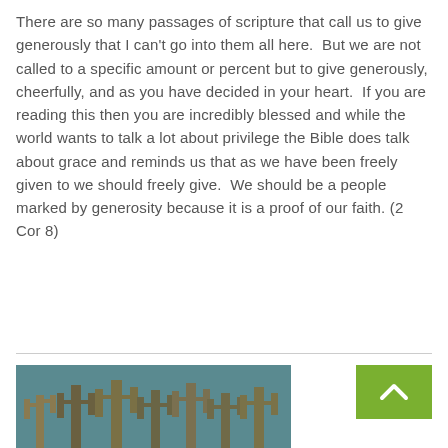There are so many passages of scripture that call us to give generously that I can't go into them all here. But we are not called to a specific amount or percent but to give generously, cheerfully, and as you have decided in your heart. If you are reading this then you are incredibly blessed and while the world wants to talk a lot about privilege the Bible does talk about grace and reminds us that as we have been freely given to we should freely give. We should be a people marked by generosity because it is a proof of our faith. (2 Cor 8)
[Figure (photo): Partial image of cactus silhouettes on a teal/blue-green background, bottom of page]
[Figure (other): Green back-to-top button with upward chevron arrow icon]